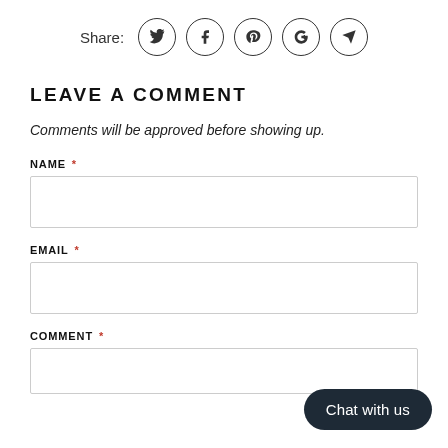[Figure (other): Share row with social media icon buttons: Twitter, Facebook, Pinterest, Google+, and a send/email icon, each in a circle outline. Label 'Share:' on the left.]
LEAVE A COMMENT
Comments will be approved before showing up.
NAME *
EMAIL *
COMMENT *
[Figure (other): Chat with us button — dark rounded pill button in lower right corner]